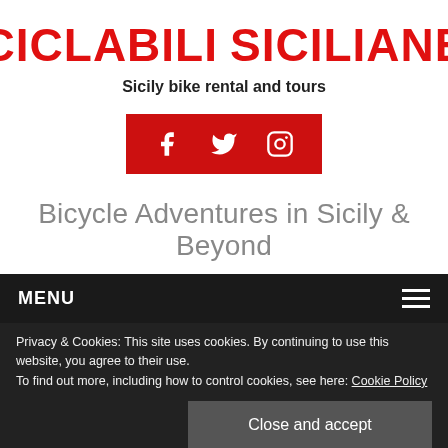[Figure (logo): Ciclabili Siciliane logo with red text and bicycle wheel icon]
Sicily bike rental and tours
[Figure (infographic): Red social media bar with Facebook, Twitter, and Instagram icons]
Bicycle Adventures in Sicily & Beyond
MENU
Privacy & Cookies: This site uses cookies. By continuing to use this website, you agree to their use.
To find out more, including how to control cookies, see here: Cookie Policy
Close and accept